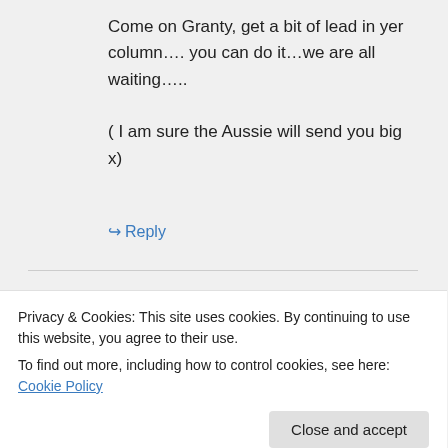Come on Granty, get a bit of lead in yer column…. you can do it…we are all waiting…..

( I am sure the Aussie will send you big x)
↪ Reply
wirralleaks on October 24, 2017 at 10:10 am
Privacy & Cookies: This site uses cookies. By continuing to use this website, you agree to their use.
To find out more, including how to control cookies, see here: Cookie Policy
Close and accept
how tickled I am to be in